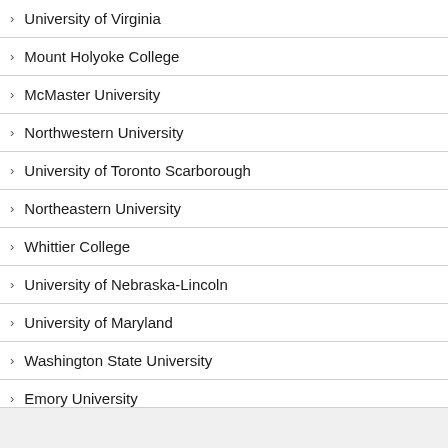University of Virginia
Mount Holyoke College
McMaster University
Northwestern University
University of Toronto Scarborough
Northeastern University
Whittier College
University of Nebraska-Lincoln
University of Maryland
Washington State University
Emory University